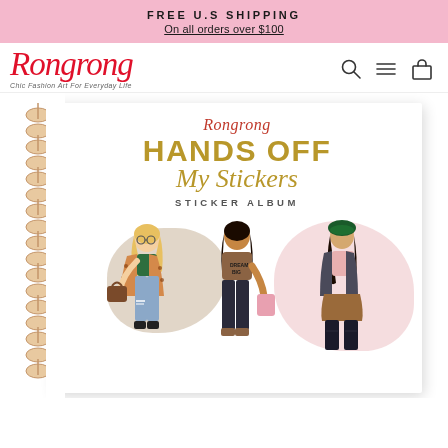FREE U.S SHIPPING
On all orders over $100
[Figure (logo): Rongrong script logo in red cursive with tagline 'Chic Fashion Art For Everyday Life']
[Figure (photo): Product image of 'Hands Off My Stickers' sticker album by Rongrong, showing a spiral-bound notebook cover with three fashion illustration women and gold bold text]